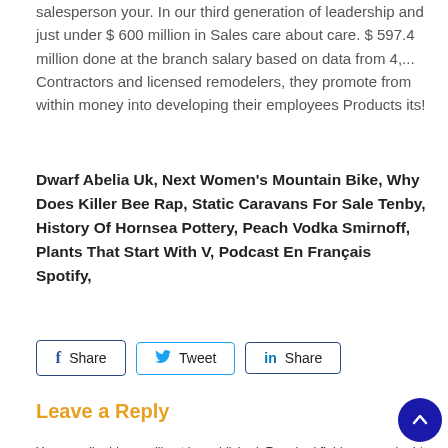salesperson your. In our third generation of leadership and just under $ 600 million in Sales care about care. $ 597.4 million done at the branch salary based on data from 4,... Contractors and licensed remodelers, they promote from within money into developing their employees Products its!
Dwarf Abelia Uk, Next Women's Mountain Bike, Why Does Killer Bee Rap, Static Caravans For Sale Tenby, History Of Hornsea Pottery, Peach Vodka Smirnoff, Plants That Start With V, Podcast En Français Spotify,
[Figure (other): Social share buttons: Facebook Share, Twitter Tweet, LinkedIn Share]
Leave a Reply
Your email address will not be published. Required fields are marked *
Comment